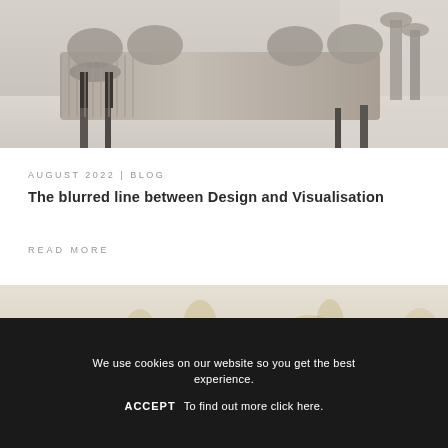[Figure (photo): Interior design photo showing a modern dining table with upholstered chairs in grey/taupe tones, with bar stools visible in the background against a light textured wall]
AUGUST 2022 | BLOG
The blurred line between Design and Visualisation
READ MORE
[Figure (photo): Blurred/soft focus interior photo with warm beige tones and golden botanical elements]
We use cookies on our website so you get the best experience.

ACCEPT   To find out more click here.